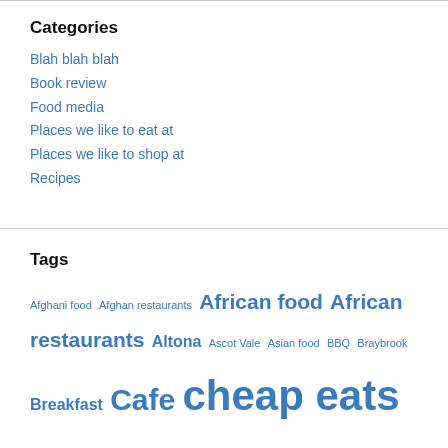Categories
Blah blah blah
Book review
Food media
Places we like to eat at
Places we like to shop at
Recipes
Tags
Afghani food Afghan restaurants African food African restaurants Altona Ascot Vale Asian food BBQ Braybrook Breakfast Cafe cheap eats Chinese food Coffee CTS Feasts Ethiopian food Festivals Filipino food Filipino restaurants Fish and chips Flemington Food trucks Footscray Gelati Greek food Greek